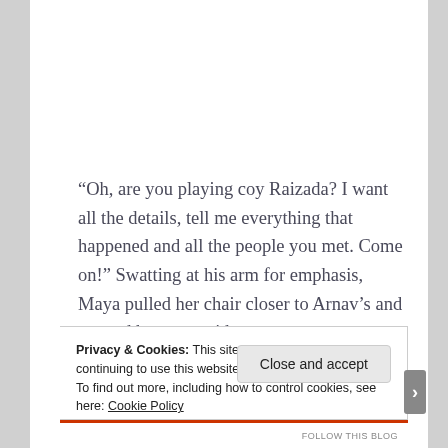“Oh, are you playing coy Raizada? I want all the details, tell me everything that happened and all the people you met. Come on!” Swatting at his arm for emphasis, Maya pulled her chair closer to Arnav’s and opened her eyes wide.
Privacy & Cookies: This site uses cookies. By continuing to use this website, you agree to their use.
To find out more, including how to control cookies, see here: Cookie Policy
Close and accept